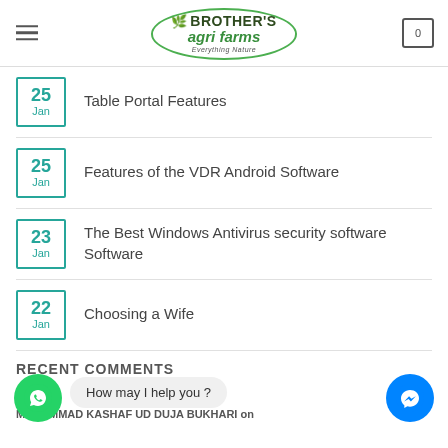Brother's Agri Farms — Everything Nature
25 Jan — Table Portal Features
25 Jan — Features of the VDR Android Software
23 Jan — The Best Windows Antivirus security software Software
22 Jan — Choosing a Wife
RECENT COMMENTS
MUHAMMAD KASHAF UD DUJA BUKHARI on
How may I help you ?